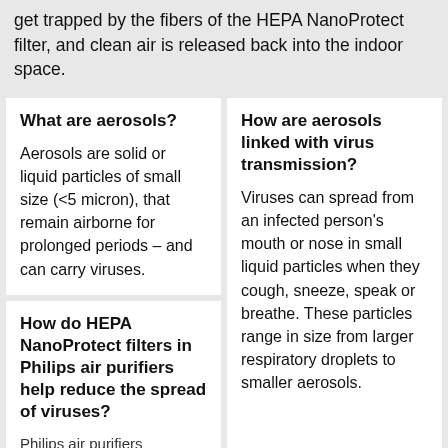get trapped by the fibers of the HEPA NanoProtect filter, and clean air is released back into the indoor space.
What are aerosols?
Aerosols are solid or liquid particles of small size (<5 micron), that remain airborne for prolonged periods – and can carry viruses.
How are aerosols linked with virus transmission?
Viruses can spread from an infected person's mouth or nose in small liquid particles when they cough, sneeze, speak or breathe. These particles range in size from larger respiratory droplets to smaller aerosols.
How do HEPA NanoProtect filters in Philips air purifiers help reduce the spread of viruses?
Philips air purifiers...
Once the virus is